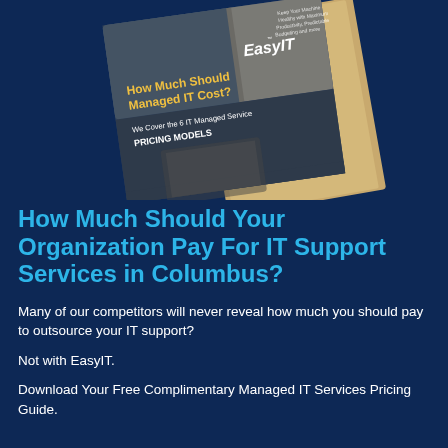[Figure (illustration): Angled booklet/guide cover showing 'How Much Should Managed IT Cost? We Cover the 6 IT Managed Service PRICING MODELS' with EasyIT branding, placed on a dark blue background]
How Much Should Your Organization Pay For IT Support Services in Columbus?
Many of our competitors will never reveal how much you should pay to outsource your IT support?
Not with EasyIT.
Download Your Free Complimentary Managed IT Services Pricing Guide.